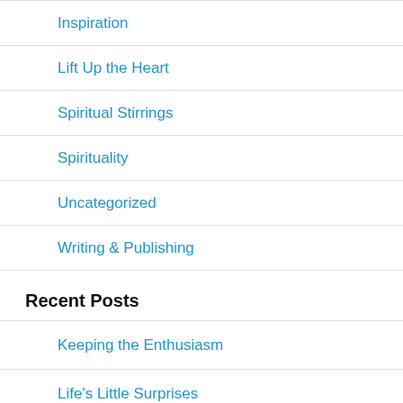Inspiration
Lift Up the Heart
Spiritual Stirrings
Spirituality
Uncategorized
Writing & Publishing
Recent Posts
Keeping the Enthusiasm
Life's Little Surprises